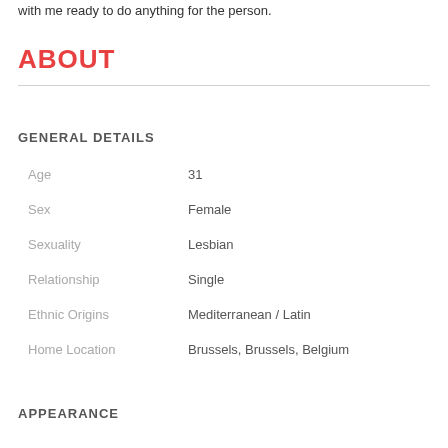with me ready to do anything for the person.
ABOUT
GENERAL DETAILS
| Field | Value |
| --- | --- |
| Age | 31 |
| Sex | Female |
| Sexuality | Lesbian |
| Relationship | Single |
| Ethnic Origins | Mediterranean / Latin |
| Home Location | Brussels, Brussels, Belgium |
APPEARANCE